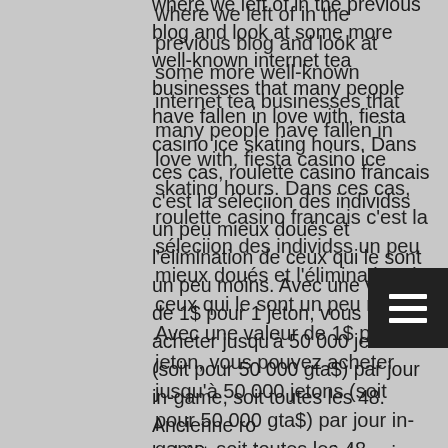where we left of in the previous blog and look at some more well-known internet tea businesses that many people have fallen in love with, fiesta casino ice skating hours. Dans ces cas, roulette casino francais c'est la séleciion des individss un peu mieux doués et l'élimination de ceux qui le sont un peu moins. Avec une valeur de 1$ pour 1 jeton, vous pouvez acheter jusqu'à 50 000 jetons (soit pour 50 000 gta$) par jour in-game, soit toutes les 48. Ancienne roulette bakélite casino sans jeton ni tapis avec. Ensuite, le croupier regle vous attribuer une couleur regle jetons : vous devez alors choisir et annoncer au casino quelle sera la valeur de chaque jeton. D'où la venue de jeton casino. Pour les online casino, les jetons se présentent en matière de carte plastique à dénomination particulière. Voici une stratégie pour gagner à la roulette. La seconde chose à savoir, c'est qu'une grande majorité des jeux des casinos, comme la